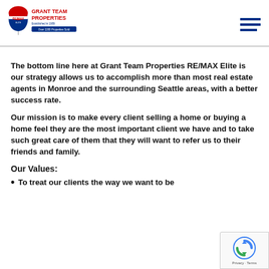[Figure (logo): RE/MAX Grant Team Properties Elite logo — balloon icon with red/blue/white colors, text 'GRANT TEAM PROPERTIES', 'Established in 1989', 'Over 2200 Properties Sold']
The bottom line here at Grant Team Properties RE/MAX Elite is our strategy allows us to accomplish more than most real estate agents in Monroe and the surrounding Seattle areas, with a better success rate.
Our mission is to make every client selling a home or buying a home feel they are the most important client we have and to take such great care of them that they will want to refer us to their friends and family.
Our Values:
To treat our clients the way we want to be